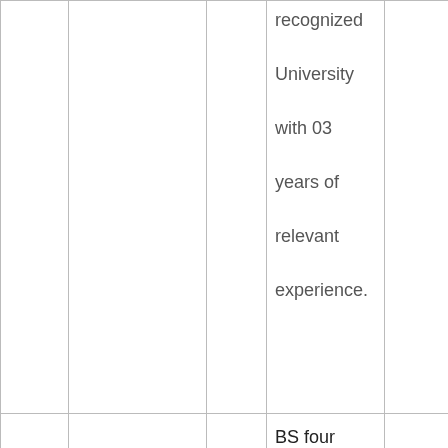| No. | Post | Vacancies | Qualification | Department |
| --- | --- | --- | --- | --- |
|  |  |  | recognized University with 03 years of relevant experience. |  |
| 05 | ACCOUNTS OFFICER | 1 | BS four years or Masters' Degree 2nd Division in Commerce or Economics or | MINES MINERA DEPART |